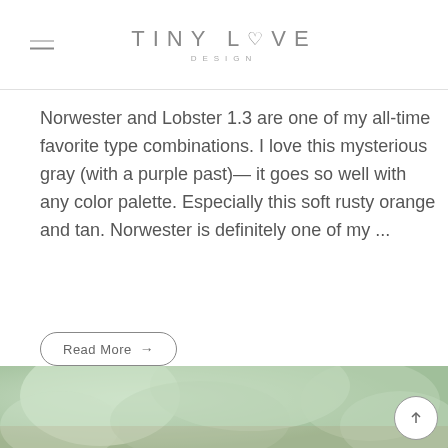TINY LOVE DESIGN
Norwester and Lobster 1.3 are one of my all-time favorite type combinations. I love this mysterious gray (with a purple past)— it goes so well with any color palette. Especially this soft rusty orange and tan. Norwester is definitely one of my ...
Read More →
[Figure (photo): Blurred outdoor background photo with green bokeh, partial view of what appears to be a garden or outdoor setting]